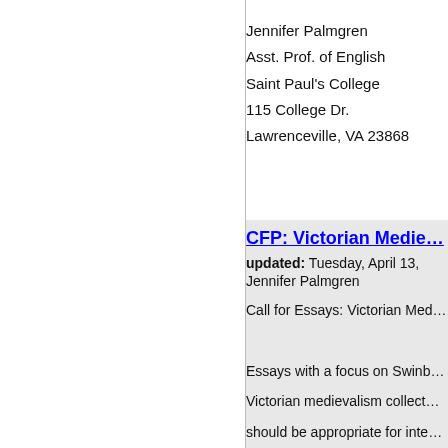Jennifer Palmgren
Asst. Prof. of English
Saint Paul's College
115 College Dr.
Lawrenceville, VA 23868
CFP: Victorian Medie...
updated: Tuesday, April 13,
Jennifer Palmgren
Call for Essays: Victorian Med...
Essays with a focus on Swinb... Victorian medievalism collect... should be appropriate for inte... with Victorian medievalism an... material. Please send questio...